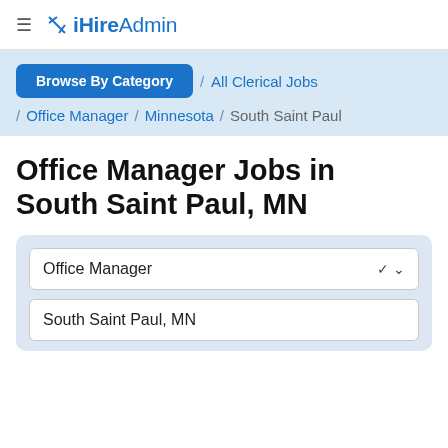≡ ✕ iHireAdmin
Browse By Category / All Clerical Jobs / Office Manager / Minnesota / South Saint Paul
Office Manager Jobs in South Saint Paul, MN
Office Manager [dropdown]
South Saint Paul, MN [text input]